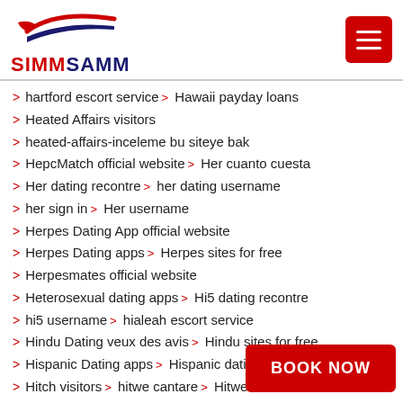SIMMSAMM
hartford escort service > Hawaii payday loans
Heated Affairs visitors
heated-affairs-inceleme bu siteye bak
HepcMatch official website > Her cuanto cuesta
Her dating recontre > her dating username
her sign in > Her username
Herpes Dating App official website
Herpes Dating apps > Herpes sites for free
Herpesmates official website
Heterosexual dating apps > Hi5 dating recontre
hi5 username > hialeah escort service
Hindu Dating veux des avis > Hindu sites for free
Hispanic Dating apps > Hispanic dating site free
Hitch visitors > hitwe cantare > Hitwe iniciar sesion
hitwe l'Internet > hollywood...
home equity installment loa...